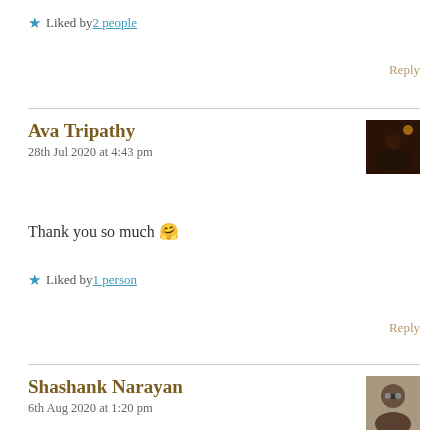★ Liked by 2 people
Reply
Ava Tripathy
28th Jul 2020 at 4:43 pm
[Figure (photo): Avatar thumbnail showing silhouettes at sunset/night sky]
Thank you so much 🤗
★ Liked by 1 person
Reply
Shashank Narayan
6th Aug 2020 at 1:20 pm
[Figure (photo): Avatar thumbnail showing a person with glasses]